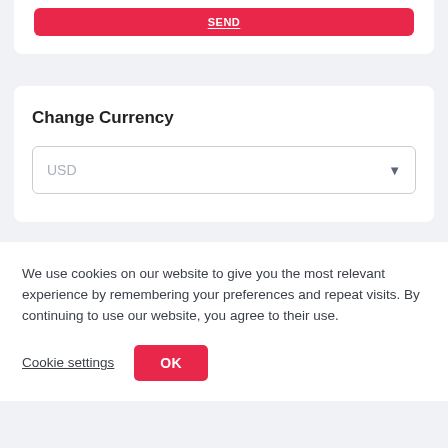[Figure (screenshot): Red button bar at top of card]
Change Currency
[Figure (screenshot): USD currency dropdown selector]
We use cookies on our website to give you the most relevant experience by remembering your preferences and repeat visits. By continuing to use our website, you agree to their use.
Cookie settings  OK